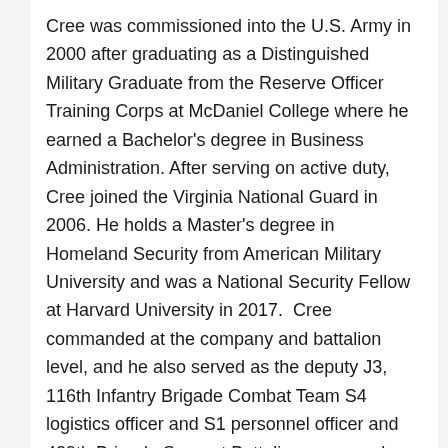Cree was commissioned into the U.S. Army in 2000 after graduating as a Distinguished Military Graduate from the Reserve Officer Training Corps at McDaniel College where he earned a Bachelor's degree in Business Administration. After serving on active duty, Cree joined the Virginia National Guard in 2006. He holds a Master's degree in Homeland Security from American Military University and was a National Security Fellow at Harvard University in 2017.  Cree commanded at the company and battalion level, and he also served as the deputy J3, 116th Infantry Brigade Combat Team S4 logistics officer and S1 personnel officer and 429th Brigade Support Battalion commander, executive officer and battalion officer-in-charge. He has supported operations in Germany and Bosnia and deployed to Iraq from 2004 to 2005.
Mahoney received an ROTC commission upon graduation from The College of William and Mary in Williamsburg, Virginia, in 1986.  She entered active duty immediately upon commissioning and joined the